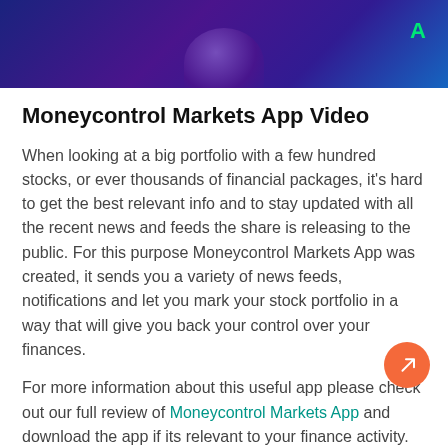[Figure (screenshot): Dark purple/blue gradient header banner with a rounded shape at the bottom center and a green letter 'A' in the top right corner]
Moneycontrol Markets App Video
When looking at a big portfolio with a few hundred stocks, or ever thousands of financial packages, it's hard to get the best relevant info and to stay updated with all the recent news and feeds the share is releasing to the public. For this purpose Moneycontrol Markets App was created, it sends you a variety of news feeds, notifications and let you mark your stock portfolio in a way that will give you back your control over your finances.
For more information about this useful app please check out our full review of Moneycontrol Markets App and download the app if its relevant to your finance activity.
For AppsApk users comfort you can find below the Video transcript
The Markets on Mobile app is your gateway to all critical real-